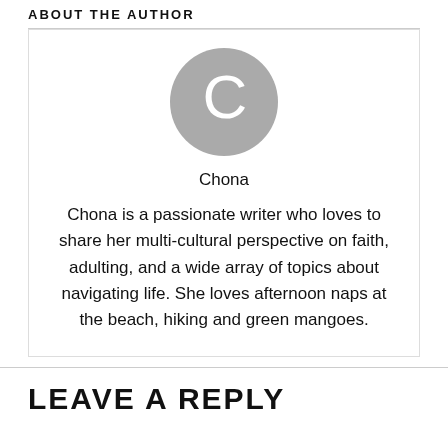ABOUT THE AUTHOR
[Figure (illustration): Circular gray avatar with white letter C]
Chona
Chona is a passionate writer who loves to share her multi-cultural perspective on faith, adulting, and a wide array of topics about navigating life. She loves afternoon naps at the beach, hiking and green mangoes.
LEAVE A REPLY